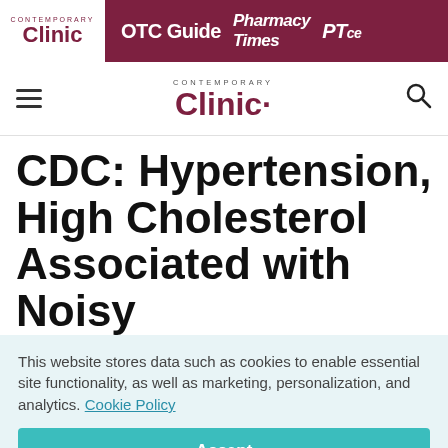Contemporary Clinic | OTC Guide | Pharmacy Times | PTce
Contemporary Clinic
CDC: Hypertension, High Cholesterol Associated with Noisy
This website stores data such as cookies to enable essential site functionality, as well as marketing, personalization, and analytics. Cookie Policy
Accept
Deny